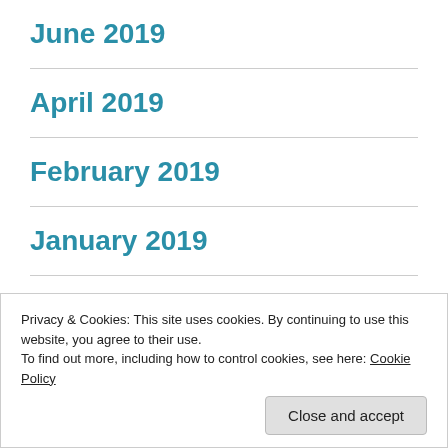June 2019
April 2019
February 2019
January 2019
December 2018
Privacy & Cookies: This site uses cookies. By continuing to use this website, you agree to their use.
To find out more, including how to control cookies, see here: Cookie Policy
October 2018